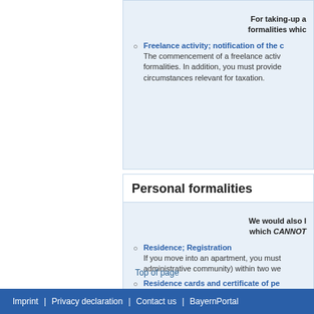For taking-up a... formalities whic...
Freelance activity; notification of the c... The commencement of a freelance activ... formalities. In addition, you must provide... circumstances relevant for taxation.
Personal formalities
We would also l... which CANNOT...
Residence; Registration If you move into an apartment, you must... administrative community) within two we...
Residence cards and certificate of pe... A residence card or permanent residenc... to free movement and to permanent resi... apply for a certificate.
Top of page
Imprint | Privacy declaration | Contact us | BayernPortal